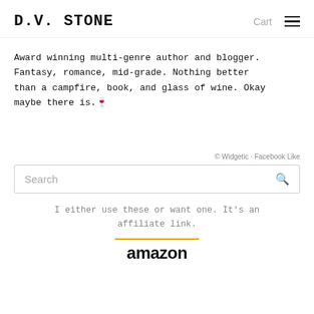D.V. STONE | Cart
Award winning multi-genre author and blogger. Fantasy, romance, mid-grade. Nothing better than a campfire, book, and glass of wine. Okay maybe there is.🍷
© Widgetic · Facebook Like
Search
I either use these or want one. It's an affiliate link.
[Figure (logo): Amazon logo with orange line above it]